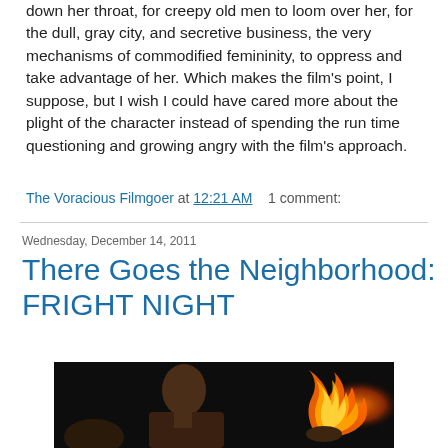down her throat, for creepy old men to loom over her, for the dull, gray city, and secretive business, the very mechanisms of commodified femininity, to oppress and take advantage of her. Which makes the film's point, I suppose, but I wish I could have cared more about the plight of the character instead of spending the run time questioning and growing angry with the film's approach.
The Voracious Filmgoer at 12:21 AM   1 comment:
There Goes the Neighborhood: FRIGHT NIGHT
Wednesday, December 14, 2011
[Figure (photo): A man holding a flaming object against a dark background, with orange and yellow flames visible in his hand.]